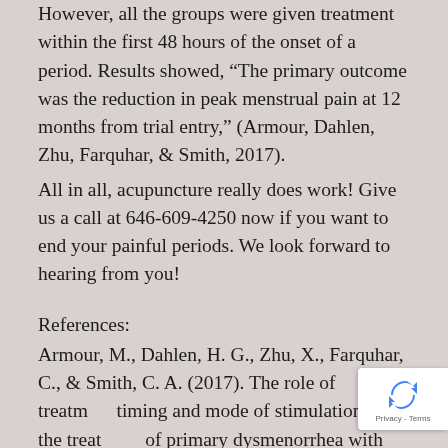However, all the groups were given treatment within the first 48 hours of the onset of a period. Results showed, “The primary outcome was the reduction in peak menstrual pain at 12 months from trial entry,” (Armour, Dahlen, Zhu, Farquhar, & Smith, 2017).
All in all, acupuncture really does work! Give us a call at 646-609-4250 now if you want to end your painful periods. We look forward to hearing from you!
References:
Armour, M., Dahlen, H. G., Zhu, X., Farquhar, C., & Smith, C. A. (2017). The role of treatment timing and mode of stimulation in the treatment of primary dysmenorrhea with acupuncture: An